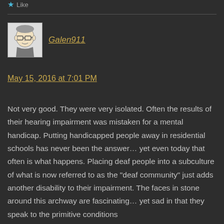Like
Galen911
May 15, 2016 at 7:01 PM
Not very good. They were very isolated. Often the results of their hearing impairment was mistaken for a mental handicap. Putting handicapped people away in residential schools has never been the answer… yet even today that often is what happens. Placing deaf people into a subculture of what is now referred to as the "deaf community" just adds another disability to their impairment. The faces in stone around this archway are fascinating… yet sad in that they speak to the primitive conditions